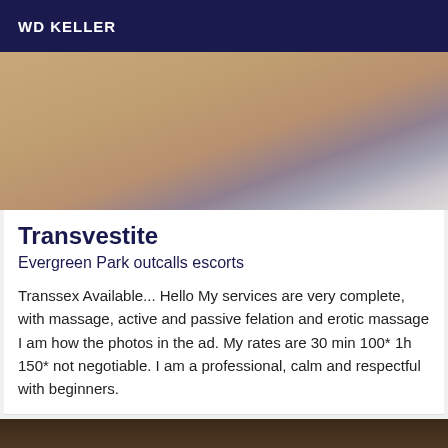WD KELLER
[Figure (photo): Close-up photo showing a person's arm/leg and a mirror or picture frame against a light purple/beige wall background]
Transvestite
Evergreen Park outcalls escorts
Transsex Available... Hello My services are very complete, with massage, active and passive felation and erotic massage I am how the photos in the ad. My rates are 30 min 100* 1h 150* not negotiable. I am a professional, calm and respectful with beginners.
[Figure (photo): Partial photo showing dark warm-toned bedding or fabric in dim lighting]